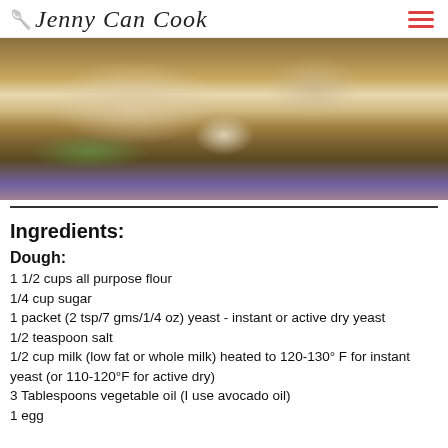Jenny Can Cook
[Figure (photo): Close-up photo of a cinnamon roll with white icing glaze being lifted or served with a green spatula from a baking pan]
Ingredients:
Dough:
1 1/2 cups all purpose flour
1/4 cup sugar
1 packet (2 tsp/7 gms/1/4 oz) yeast - instant or active dry yeast
1/2 teaspoon salt
1/2 cup milk (low fat or whole milk) heated to 120-130° F for instant yeast (or 110-120°F for active dry)
3 Tablespoons vegetable oil (I use avocado oil)
1 egg